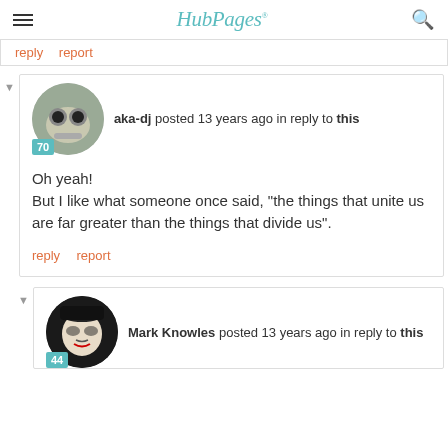HubPages
reply   report
aka-dj posted 13 years ago in reply to this
Oh yeah!
But I like what someone once said, "the things that unite us are far greater than the things that divide us".
reply   report
Mark Knowles posted 13 years ago in reply to this